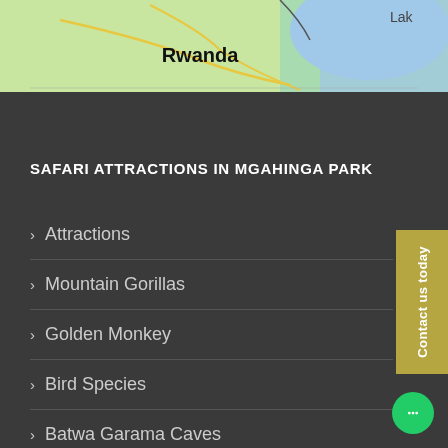[Figure (map): Map showing Rwanda region with lake visible in upper right corner, green terrain background with yellow road lines and blue water body labeled 'Lak...' Rwanda label visible in bold]
SAFARI ATTRACTIONS IN MGAHINGA PARK
Attractions
Mountain Gorillas
Golden Monkey
Bird Species
Batwa Garama Caves
Culture and People